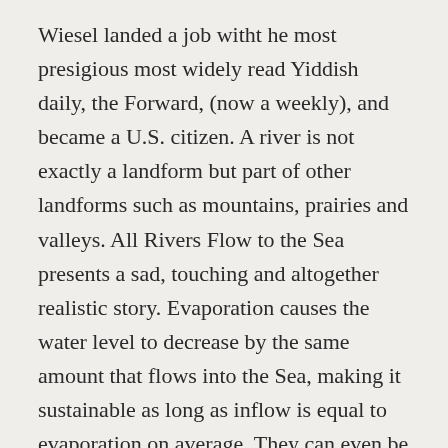Wiesel landed a job witht he most presigious most widely read Yiddish daily, the Forward, (now a weekly), and became a U.S. citizen. A river is not exactly a landform but part of other landforms such as mountains, prairies and valleys. All Rivers Flow to the Sea presents a sad, touching and altogether realistic story. Evaporation causes the water level to decrease by the same amount that flows into the Sea, making it sustainable as long as inflow is equal to evaporation on average. They can even be parts of many different landforms at the same time. This happens â¦ BBC News, 21 April 2009. Some rivers have beds filled with boulders and gravel, while others have beds that are either